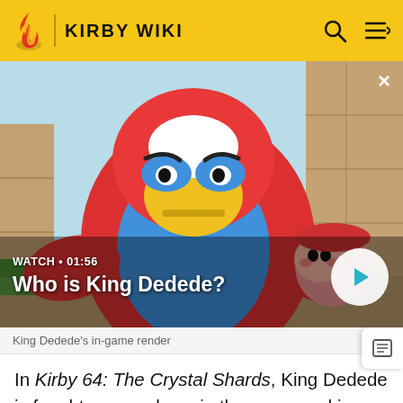KIRBY WIKI
[Figure (screenshot): Video thumbnail showing King Dedede character (large red and blue bird-like creature with yellow beak) and a smaller red Kirby-like character in a 3D game environment with wooden walls. Overlay shows 'WATCH • 01:56' and title 'Who is King Dedede?' with a play button.]
King Dedede's in-game render
In Kirby 64: The Crystal Shards, King Dedede is fought very early on in the game and is possessed by one of the Dark Matter grunts for a third time. King Dedede, while surveying his kingdom from his castle, discovers a Crystal